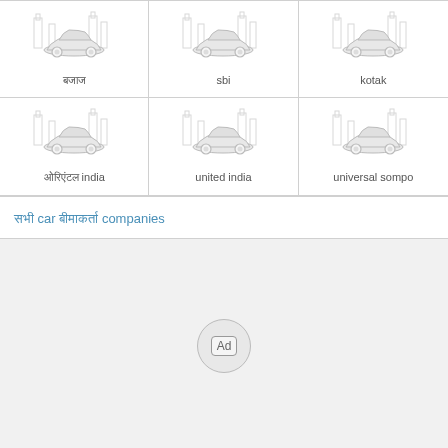[Figure (illustration): Grid of 6 car insurance company icons, each showing a car illustration with building/city background watermark. Row 1: Hindi text label, sbi, kotak. Row 2: Hindi India label, united india, universal sompo.]
सभी car बीमाकर्ता companies
[Figure (other): Ad badge circle at bottom of page]